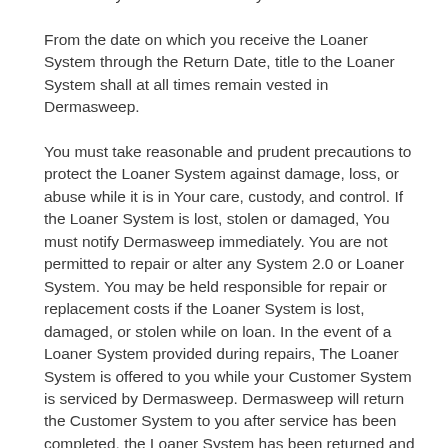requesting a refund then any refund discounts and credits may be void after 30 days.
From the date on which you receive the Loaner System through the Return Date, title to the Loaner System shall at all times remain vested in Dermasweep.
You must take reasonable and prudent precautions to protect the Loaner System against damage, loss, or abuse while it is in Your care, custody, and control. If the Loaner System is lost, stolen or damaged, You must notify Dermasweep immediately. You are not permitted to repair or alter any System 2.0 or Loaner System. You may be held responsible for repair or replacement costs if the Loaner System is lost, damaged, or stolen while on loan. In the event of a Loaner System provided during repairs, The Loaner System is offered to you while your Customer System is serviced by Dermasweep. Dermasweep will return the Customer System to you after service has been completed, the Loaner System has been returned and all outstanding payments are settled.